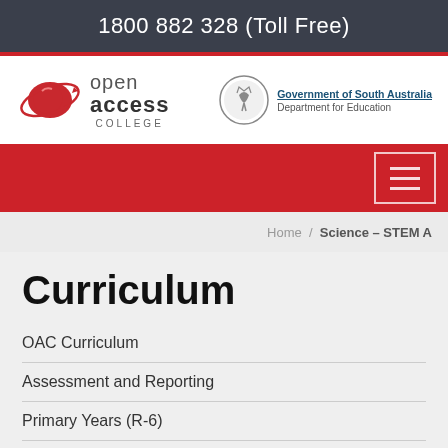1800 882 328 (Toll Free)
[Figure (logo): Open Access College logo with stylized Australia map and orbital ring]
[Figure (logo): Government of South Australia Department for Education seal and text]
Home / Science – STEM A
Curriculum
OAC Curriculum
Assessment and Reporting
Primary Years (R-6)
Middle Years (7-9)